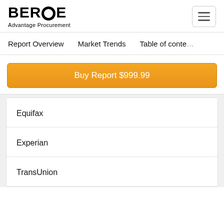BEROE Advantage Procurement
Report Overview   Market Trends   Table of conte...
Buy Report $999.99
Equifax
Experian
TransUnion